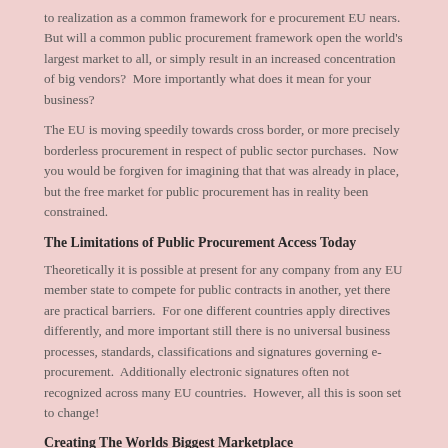to realization as a common framework for e procurement EU nears.  But will a common public procurement framework open the world's largest market to all, or simply result in an increased concentration of big vendors?  More importantly what does it mean for your business?
The EU is moving speedily towards cross border, or more precisely borderless procurement in respect of public sector purchases.  Now you would be forgiven for imagining that that was already in place, but the free market for public procurement has in reality been constrained.
The Limitations of Public Procurement Access Today
Theoretically it is possible at present for any company from any EU member state to compete for public contracts in another, yet there are practical barriers.  For one different countries apply directives differently, and more important still there is no universal business processes, standards, classifications and signatures governing e-procurement.  Additionally electronic signatures often not recognized across many EU countries.  However, all this is soon set to change!
Creating The Worlds Biggest Marketplace